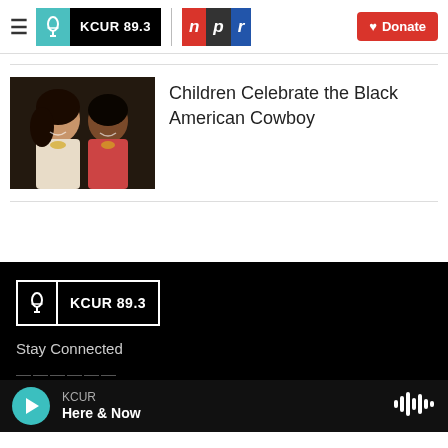KCUR 89.3 | npr | Donate
[Figure (photo): Two young women smiling at camera, photo for article about children celebrating the Black American Cowboy]
Children Celebrate the Black American Cowboy
[Figure (logo): KCUR 89.3 logo in white on black background in footer]
Stay Connected
KCUR
Here & Now